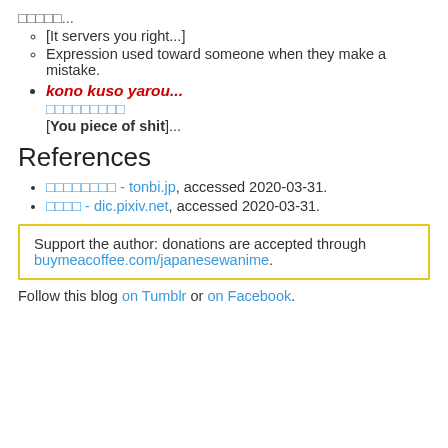□□□□□...
[It servers you right...]
Expression used toward someone when they make a mistake.
kono kuso yarou...
□□□□□□□□□
[You piece of shit]...
References
□□□□□□□□ - tonbi.jp, accessed 2020-03-31.
□□□□ - dic.pixiv.net, accessed 2020-03-31.
Support the author: donations are accepted through buymeacoffee.com/japanesewanime.
Follow this blog on Tumblr or on Facebook.